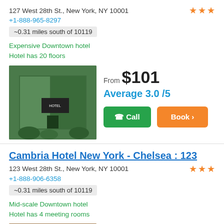127 West 28th St., New York, NY 10001
+1-888-965-8297
~0.31 miles south of 10119
Expensive Downtown hotel
Hotel has 20 floors
[Figure (photo): Hotel exterior with green wall/hedge decor and plants]
From $101
Average 3.0 /5
Call
Book >
Cambria Hotel New York - Chelsea : 123
123 West 28th St., New York, NY 10001
+1-888-906-6358
~0.31 miles south of 10119
Mid-scale Downtown hotel
Hotel has 4 meeting rooms
[Figure (photo): Hotel room interior with warm lighting]
From $119
Very Good 4.0 /5